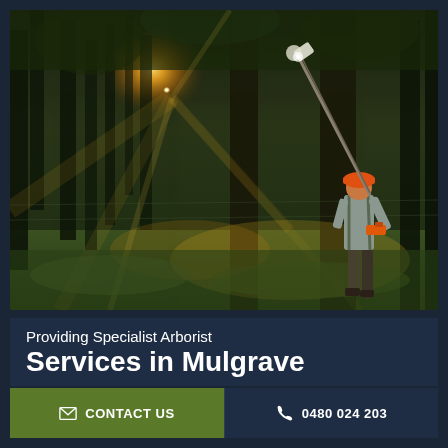[Figure (photo): Arborist worker in orange hard hat using a long pole saw to trim branches in a forest with sunlight streaming through trees]
Providing Specialist Arborist
Services in Mulgrave
✉ CONTACT US
✆ 0480 024 203